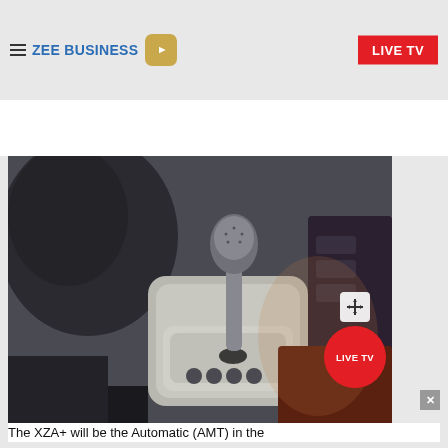ZEE BUSINESS | LIVE TV
[Figure (photo): Car interior showing an AMT automatic gear shift lever with silver/black trim and surrounding console]
The XZA+ will be the Automatic (AMT) in the